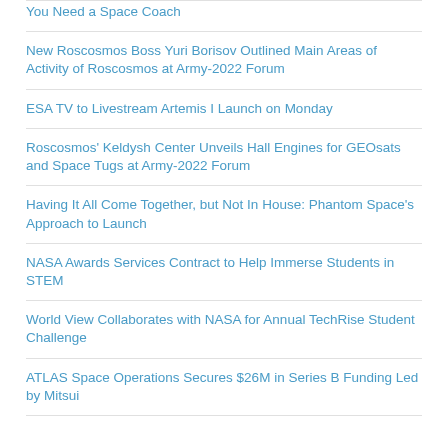You Need a Space Coach
New Roscosmos Boss Yuri Borisov Outlined Main Areas of Activity of Roscosmos at Army-2022 Forum
ESA TV to Livestream Artemis I Launch on Monday
Roscosmos' Keldysh Center Unveils Hall Engines for GEOsats and Space Tugs at Army-2022 Forum
Having It All Come Together, but Not In House: Phantom Space's Approach to Launch
NASA Awards Services Contract to Help Immerse Students in STEM
World View Collaborates with NASA for Annual TechRise Student Challenge
ATLAS Space Operations Secures $26M in Series B Funding Led by Mitsui